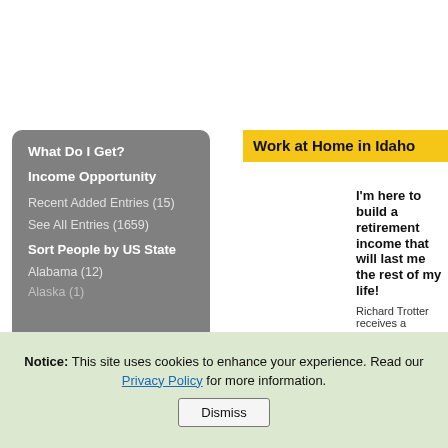Work at Home in Idaho
What Do I Get?
Income Opportunity
Recent Added Entries (15)
See All Entries (1659)
Sort People by US State
Alabama (12)
Alaska (1)
I'm here to build a retirement income that will last me the rest of my life!
Richard Trotter receives a
Bonus Pool Winner
Notice: This site uses cookies to enhance your experience. Read our Privacy Policy for more information.
Dismiss